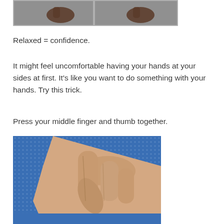[Figure (photo): Two side-by-side photos of a hand/fist at the sides, showing relaxed hand positioning, on a gray background.]
Relaxed = confidence.
It might feel uncomfortable having your hands at your sides at first. It's like you want to do something with your hands. Try this trick.
Press your middle finger and thumb together.
[Figure (photo): Close-up photo of a hand pressing the middle finger and thumb together, blue textured background.]